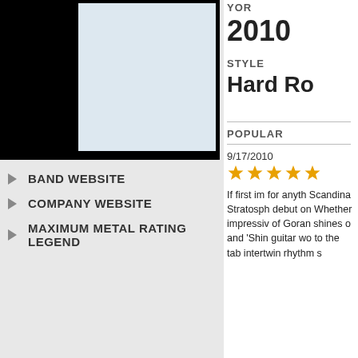[Figure (photo): Album cover image — black background with light blue/grey inner rectangle]
BAND WEBSITE
COMPANY WEBSITE
MAXIMUM METAL RATING LEGEND
YOR
2010
STYLE
Hard Ro
POPULAR
9/17/2010
If first im for anyth Scandina Stratosph debut on Whether impressiv of Goran shines o and 'Shin guitar wo to the tab intertwin rhythm s